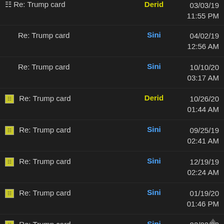Re: Trump card | Derid | 03/03/19 11:55 PM
Re: Trump card | Sini | 04/02/19 12:56 AM
Re: Trump card | Sini | 10/10/20 03:17 AM
Re: Trump card | Derid | 10/26/20 01:44 AM
Re: Trump card | Sini | 09/25/19 02:41 AM
Re: Trump card | Sini | 12/19/19 02:24 AM
Re: Trump card | Sini | 01/19/20 01:46 PM
Re: Trump card | Sini | 02/02/20 01:37 PM